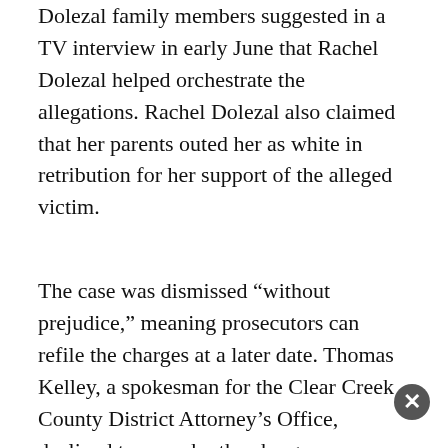Dolezal family members suggested in a TV interview in early June that Rachel Dolezal helped orchestrate the allegations. Rachel Dolezal also claimed that her parents outed her as white in retribution for her support of the alleged victim.
The case was dismissed “without prejudice,” meaning prosecutors can refile the charges at a later date. Thomas Kelley, a spokesman for the Clear Creek County District Attorney’s Office, declined to say why the charges were dropped.
Joshua Dolezal is an English professor at Central College, a private liberal arts college in Pella, Iowa. His writing, much of it nonfiction, has appeared in respected publications such as the Kenyon Review, and the